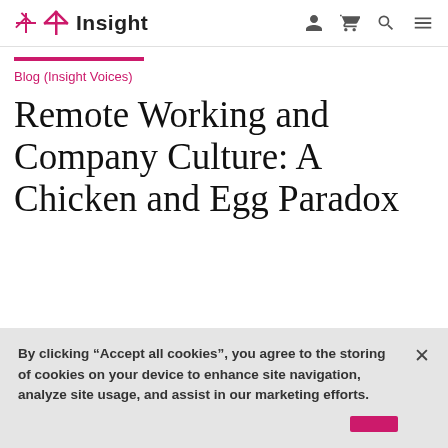Insight — navigation header with logo, user, cart, search, menu icons
Blog (Insight Voices)
Remote Working and Company Culture: A Chicken and Egg Paradox
By clicking “Accept all cookies”, you agree to the storing of cookies on your device to enhance site navigation, analyze site usage, and assist in our marketing efforts.